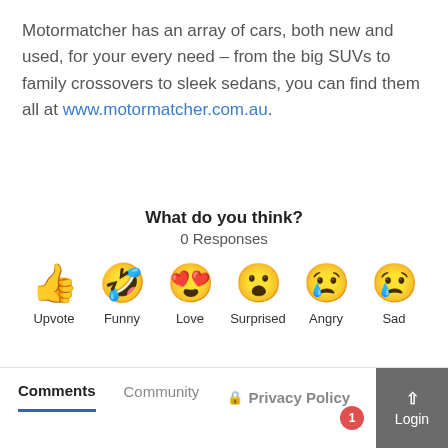Motormatcher has an array of cars, both new and used, for your every need – from the big SUVs to family crossovers to sleek sedans, you can find them all at www.motormatcher.com.au.
What do you think?
0 Responses
[Figure (infographic): Six emoji reaction buttons: Upvote (thumbs up), Funny (laughing face with tongue), Love (heart eyes), Surprised (surprised face), Angry (crying/angry face), Sad (sad face with tear)]
Comments  Community  Privacy Policy  Login